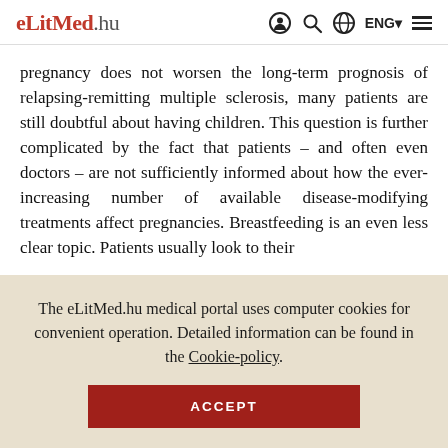eLitMed.hu  [icons] ENG  [menu]
pregnancy does not worsen the long-term prognosis of relapsing-remitting multiple sclerosis, many patients are still doubtful about having children. This question is further complicated by the fact that patients – and often even doctors – are not sufficiently informed about how the ever-increasing number of available disease-modifying treatments affect pregnancies. Breastfeeding is an even less clear topic. Patients usually look to their
The eLitMed.hu medical portal uses computer cookies for convenient operation. Detailed information can be found in the Cookie-policy.
ACCEPT